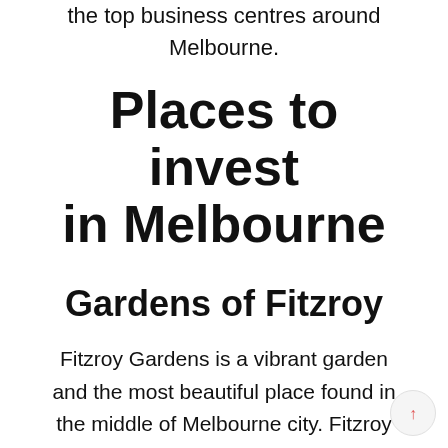the top business centres around Melbourne.
Places to invest in Melbourne
Gardens of Fitzroy
Fitzroy Gardens is a vibrant garden and the most beautiful place found in the middle of Melbourne city. Fitzroy garden attracts thousands of people as a tourist in the city. Having this